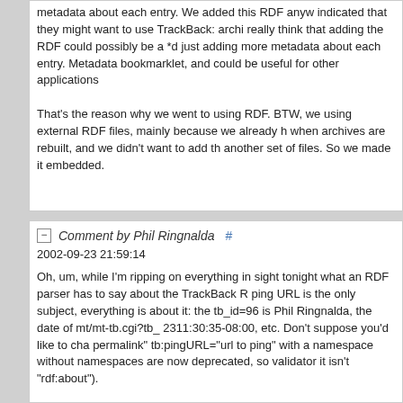metadata about each entry. We added this RDF anyw indicated that they might want to use TrackBack: archi really think that adding the RDF could possibly be a *d just adding more metadata about each entry. Metadata bookmarklet, and could be useful for other applications

That's the reason why we went to using RDF. BTW, we using external RDF files, mainly because we already h when archives are rebuilt, and we didn't want to add th another set of files. So we made it embedded.
Comment by Phil Ringnalda #
2002-09-23 21:59:14

Oh, um, while I'm ripping on everything in sight tonight what an RDF parser has to say about the TrackBack R ping URL is the only subject, everything is about it: the tb_id=96 is Phil Ringnalda, the date of mt/mt-tb.cgi?tb_ 2311:30:35-08:00, etc. Don't suppose you'd like to cha permalink" tb:pingURL="url to ping" with a namespace without namespaces are now deprecated, so validator it isn't "rdf:about").